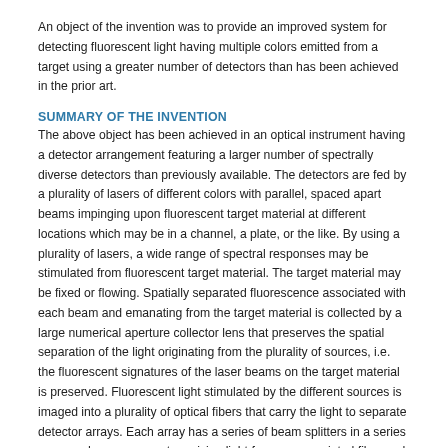An object of the invention was to provide an improved system for detecting fluorescent light having multiple colors emitted from a target using a greater number of detectors than has been achieved in the prior art.
SUMMARY OF THE INVENTION
The above object has been achieved in an optical instrument having a detector arrangement featuring a larger number of spectrally diverse detectors than previously available. The detectors are fed by a plurality of lasers of different colors with parallel, spaced apart beams impinging upon fluorescent target material at different locations which may be in a channel, a plate, or the like. By using a plurality of lasers, a wide range of spectral responses may be stimulated from fluorescent target material. The target material may be fixed or flowing. Spatially separated fluorescence associated with each beam and emanating from the target material is collected by a large numerical aperture collector lens that preserves the spatial separation of the light originating from the plurality of sources, i.e. the fluorescent signatures of the laser beams on the target material is preserved. Fluorescent light stimulated by the different sources is imaged into a plurality of optical fibers that carry the light to separate detector arrays. Each array has a series of beam splitters in a series or cascade arrangement receiving light from an associated fiber and relaying part of the light to a downstream beam splitter, spectrally filtering the light on each relay within the cascade arrangement by means of coatings associated with the splitters. Within each array, light reflected from a beam splitter is